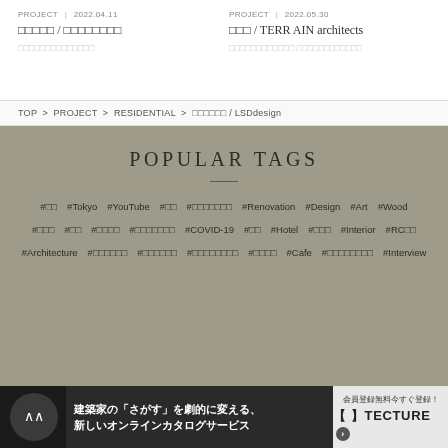PROJECT | 2022.04.11  [Japanese title] / [Japanese firm]  [Japanese description]
PROJECT | 2022.05.30  [Japanese title] / TERRAIN architects  [Japanese description]
TOP > PROJECT > RESIDENTIAL > [Japanese] / LSDdesign
POPULAR TAGS
#[ja] #Tokyo #YouTube #[ja] #[ja] #Renovation #Design #Art #Wood #[ja] #[ja] #[ja] #[ja] #COVID-19 #[ja] #Hotel #[ja] #Interior #RC[ja] #Architecture #[ja] #[ja] #[ja] #[ja] #Cafe #[ja] #Interview
建築家の「さがす」を劇的に変える、新しいオンラインカタログサービス  会員登録無料今すぐ登録！ 【 】TECTURE